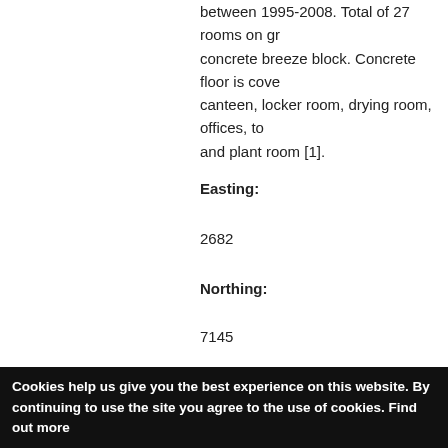between 1995-2008. Total of 27 rooms on ground floor, concrete breeze block. Concrete floor is covered. canteen, locker room, drying room, offices, to and plant room [1].
Easting:
2682
Northing:
7145
Grid Reference:
NZ26827145
Lats/Lons:
Sources:
Wardell Armstrong LLP, 2018, Block E, The K Tyneside, Archaeological Building Survey Re
Cookies help us give you the best experience on this website. By continuing to use the site you agree to the use of cookies. Find out more